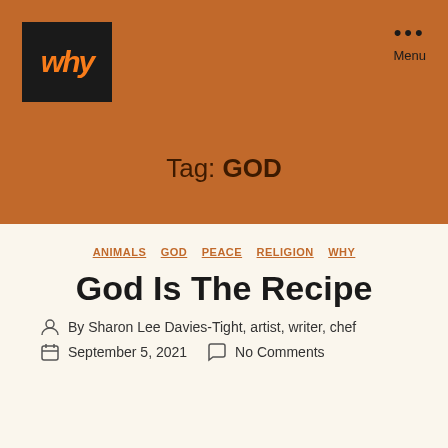[Figure (logo): WHY logo — white handwritten-style text on black background, orange color]
Menu
Tag: GOD
ANIMALS  GOD  PEACE  RELIGION  WHY
God Is The Recipe
By Sharon Lee Davies-Tight, artist, writer, chef
September 5, 2021   No Comments